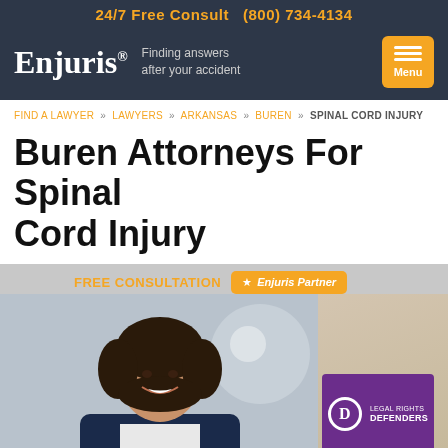24/7 Free Consult (800) 734-4134
[Figure (logo): Enjuris logo with tagline 'Finding answers after your accident' and orange Menu button]
FIND A LAWYER » LAWYERS » ARKANSAS » BUREN » SPINAL CORD INJURY
Buren Attorneys For Spinal Cord Injury
[Figure (photo): Smiling female attorney in blue blazer, with FREE CONSULTATION label, Enjuris Partner badge, and Legal Rights Defenders logo card overlaid]